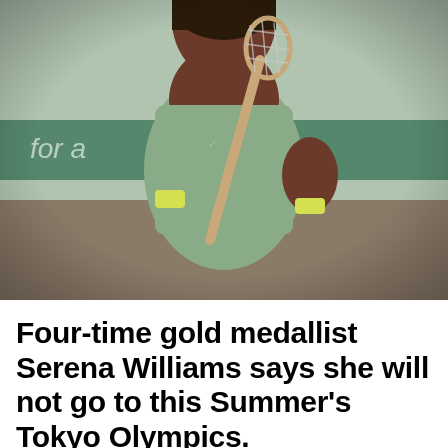[Figure (photo): Female tennis player in green/sage athletic outfit holding a Wilson tennis racket, photographed from torso up during a match. Background shows blurred court and signage.]
Four-time gold medallist Serena Williams says she will not go to this Summer's Tokyo Olympics.
Four-time Olympic gold medallist Serena Williams has confirmed she will not play in this summer's delayed Tokyo Games.
The 39-year-old made the announcement in her pre-